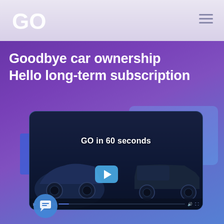GO
Goodbye car ownership
Hello long-term subscription
[Figure (screenshot): Video player card showing two cars in a dark blue scene with the title 'GO in 60 seconds' and a play button. Below the card is a video progress bar with timestamp '0:01 / 0:56'.]